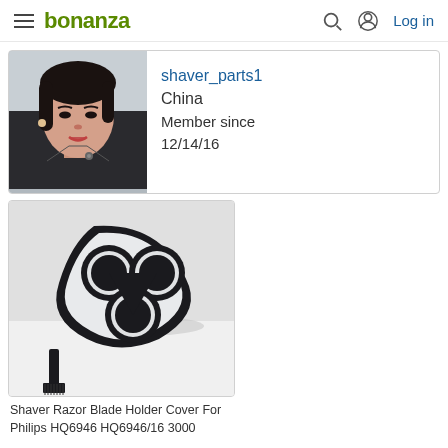bonanza | Log in
[Figure (photo): Seller profile photo showing a young Asian woman with dark hair wearing a dark jacket]
shaver_parts1
China
Member since
12/14/16
[Figure (photo): Shaver Razor Blade Holder Cover For Philips HQ6946 HQ6946/16 3000 - product image showing black triple-ring shaver head frame with cleaning brush]
Shaver Razor Blade Holder Cover For Philips HQ6946 HQ6946/16 3000